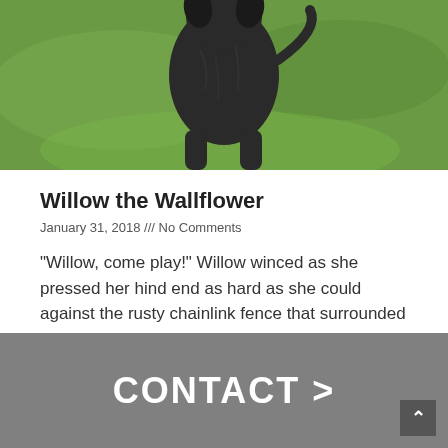[Figure (photo): A dark-colored dog photographed from behind on green grass, showing the dog's rear and hind legs against a bright green lawn background.]
Willow the Wallflower
January 31, 2018 /// No Comments
“Willow, come play!” Willow winced as she pressed her hind end as hard as she could against the rusty chainlink fence that surrounded the two-acre
Read More »
CONTACT >